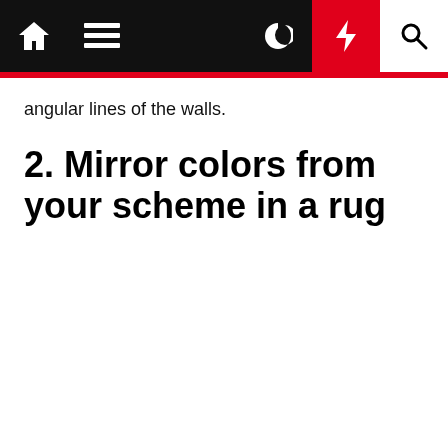Home | Menu | Moon | Lightning | Search
angular lines of the walls.
2. Mirror colors from your scheme in a rug